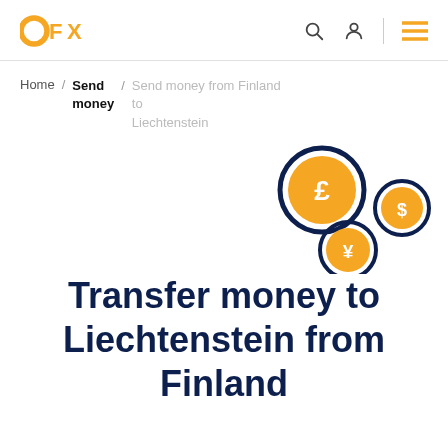OFX
Home / Send money / Send money from Finland to Liechtenstein
[Figure (illustration): Three currency coin icons with dark navy border and orange fill: a large pound (£) coin, a small dollar ($) coin, and a medium yen (¥) coin, arranged in a floating cluster.]
Transfer money to Liechtenstein from Finland